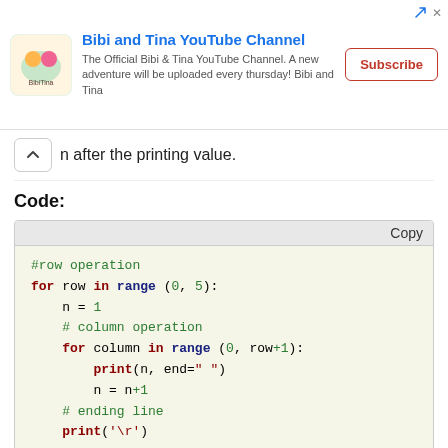[Figure (other): Advertisement banner for Bibi and Tina YouTube Channel with logo, description text, and Subscribe button]
n after the printing value.
Code:
#row operation
for row in range (0, 5):
    n = 1
    # column operation
    for column in range (0, row+1):
        print(n, end=" ")
        n = n+1
    # ending line
    print('\r')
Pattern 4: